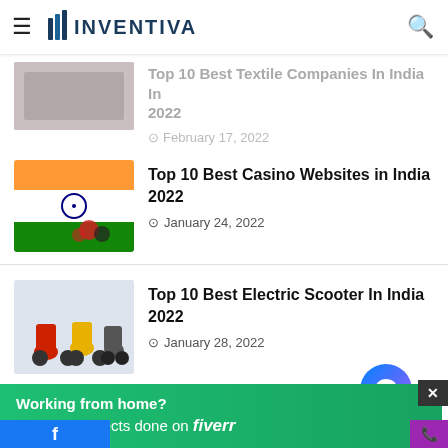INVENTIVA
Top 10 Best Textile Companies In India In 2022 — February 17, 2022
Top 10 Best Casino Websites in India 2022 — January 24, 2022
Top 10 Best Electric Scooter In India 2022 — January 28, 2022
Recent
[Figure (infographic): Fiverr advertisement banner: Working from home? Get your projects done on fiverr]